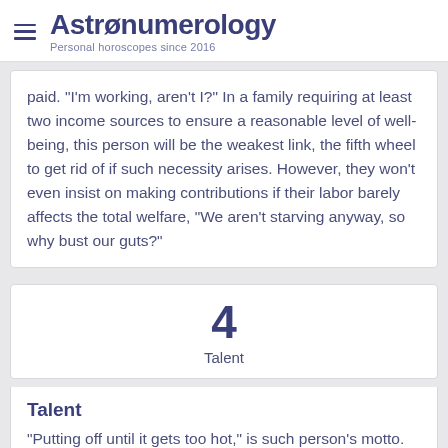Astronumerology — Personal horoscopes since 2016
paid. "I'm working, aren't I?" In a family requiring at least two income sources to ensure a reasonable level of well-being, this person will be the weakest link, the fifth wheel to get rid of if such necessity arises. However, they won't even insist on making contributions if their labor barely affects the total welfare, "We aren't starving anyway, so why bust our guts?"
[Figure (infographic): Large bold number 4 centered, with label 'Talent' below it]
Talent
"Putting off until it gets too hot," is such person's motto. Meaning, they can actually